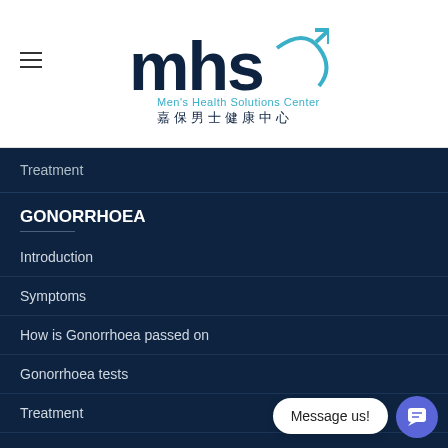[Figure (logo): MHS Men's Health Solutions Center logo with male symbol and Chinese characters 嘉保男士健康中心]
Treatment
GONORRHOEA
Introduction
Symptoms
How is Gonorrhoea passed on
Gonorrhoea tests
Treatment
NON-GONOCOCCAL URETHRITIS